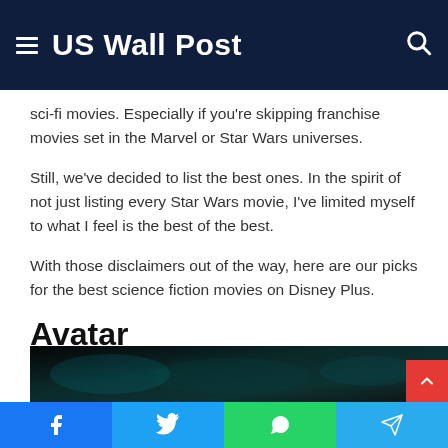US Wall Post
sci-fi movies. Especially if you're skipping franchise movies set in the Marvel or Star Wars universes.
Still, we've decided to list the best ones. In the spirit of not just listing every Star Wars movie, I've limited myself to what I feel is the best of the best.
With those disclaimers out of the way, here are our picks for the best science fiction movies on Disney Plus.
Avatar
[Figure (photo): Bottom portion of an Avatar movie image showing blue-tinted scene]
Facebook | Twitter | WhatsApp | Telegram